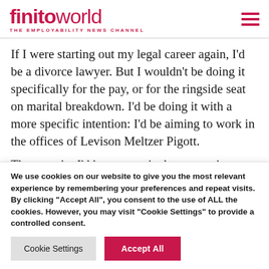finitoworld THE EMPLOYABILITY NEWS CHANNEL
If I were starting out my legal career again, I’d be a divorce lawyer. But I wouldn’t be doing it specifically for the pay, or for the ringside seat on marital breakdown. I’d be doing it with a more specific intention: I’d be aiming to work in the offices of Levison Meltzer Pigott.
There again. I’d have a particular reason in
We use cookies on our website to give you the most relevant experience by remembering your preferences and repeat visits. By clicking “Accept All”, you consent to the use of ALL the cookies. However, you may visit "Cookie Settings" to provide a controlled consent.